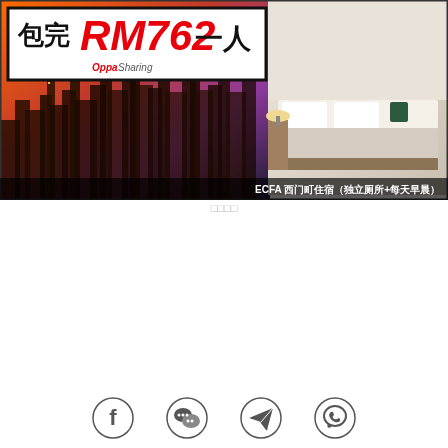[Figure (infographic): Travel promotion banner with city night skyline on left, hotel room on right, large Chinese text '包完RM762一人', Oppa Sharing logo, and ECFA 西门町住宿（独立厕所+每天早晨）text at bottom]
□□□□
[Figure (infographic): Social sharing icons row: Facebook, WeChat, Telegram, WhatsApp]